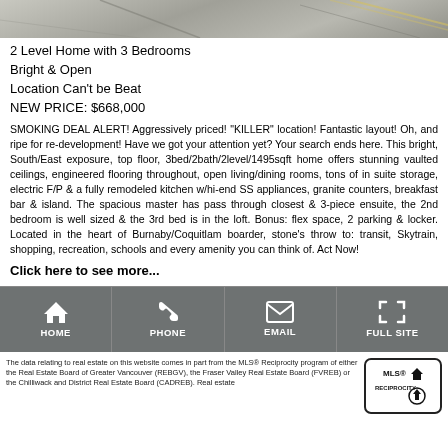[Figure (photo): Outdoor photo strip, appears to be a road/parking lot surface]
2 Level Home with 3 Bedrooms
Bright & Open
Location Can't be Beat
NEW PRICE: $668,000
SMOKING DEAL ALERT! Aggressively priced! "KILLER" location! Fantastic layout! Oh, and ripe for re-development! Have we got your attention yet? Your search ends here. This bright, South/East exposure, top floor, 3bed/2bath/2level/1495sqft home offers stunning vaulted ceilings, engineered flooring throughout, open living/dining rooms, tons of in suite storage, electric F/P & a fully remodeled kitchen w/hi-end SS appliances, granite counters, breakfast bar & island. The spacious master has pass through closest & 3-piece ensuite, the 2nd bedroom is well sized & the 3rd bed is in the loft. Bonus: flex space, 2 parking & locker. Located in the heart of Burnaby/Coquitlam boarder, stone's throw to: transit, Skytrain, shopping, recreation, schools and every amenity you can think of. Act Now!
Click here to see more...
[Figure (infographic): Navigation bar with HOME, PHONE, EMAIL, FULL SITE icons on gray background]
The data relating to real estate on this website comes in part from the MLS® Reciprocity program of either the Real Estate Board of Greater Vancouver (REBGV), the Fraser Valley Real Estate Board (FVREB) or the Chilliwack and District Real Estate Board (CADREB). Real estate